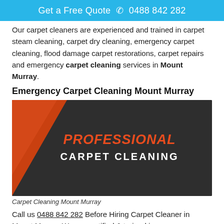Get a Free Quote ☎ 0488 842 282
Our carpet cleaners are experienced and trained in carpet steam cleaning, carpet dry cleaning, emergency carpet cleaning, flood damage carpet restorations, carpet repairs and emergency carpet cleaning services in Mount Murray.
Emergency Carpet Cleaning Mount Murray
[Figure (photo): Dark textured background with orange triangle on the left side and text 'PROFESSIONAL CARPET CLEANING' in orange and white]
Carpet Cleaning Mount Murray
Call us 0488 842 282 Before Hiring Carpet Cleaner in Mount Murray. We are certified & trained in emergency